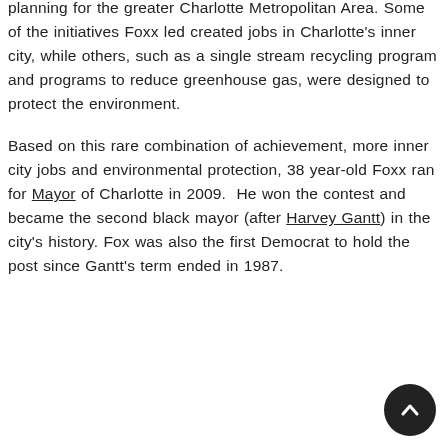planning for the greater Charlotte Metropolitan Area. Some of the initiatives Foxx led created jobs in Charlotte's inner city, while others, such as a single stream recycling program and programs to reduce greenhouse gas, were designed to protect the environment.
Based on this rare combination of achievement, more inner city jobs and environmental protection, 38 year-old Foxx ran for Mayor of Charlotte in 2009.  He won the contest and became the second black mayor (after Harvey Gantt) in the city's history. Fox was also the first Democrat to hold the post since Gantt's term ended in 1987.